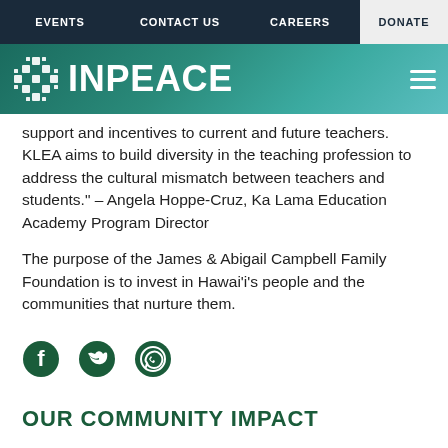EVENTS  CONTACT US  CAREERS  DONATE
[Figure (logo): INPEACE logo with snowflake/quilt pattern icon on teal gradient background]
support and incentives to current and future teachers. KLEA aims to build diversity in the teaching profession to address the cultural mismatch between teachers and students." – Angela Hoppe-Cruz, Ka Lama Education Academy Program Director
The purpose of the James & Abigail Campbell Family Foundation is to invest in Hawai'i's people and the communities that nurture them.
[Figure (illustration): Social media icons: Facebook, Twitter, WhatsApp in dark green]
OUR COMMUNITY IMPACT